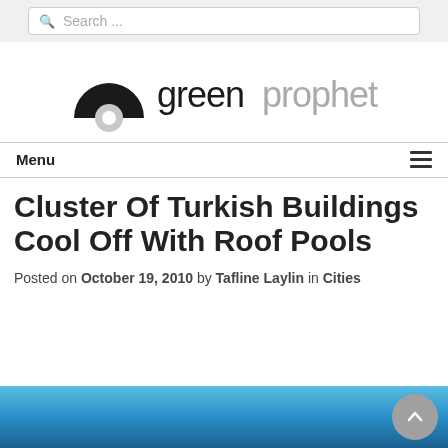Search ...
[Figure (logo): Greenprophet logo with black arch/dome icon and text 'greenprophet' in grey sans-serif]
Menu
Cluster Of Turkish Buildings Cool Off With Roof Pools
Posted on October 19, 2010 by Tafline Laylin in Cities
[Figure (photo): Blue sky/pool image strip at bottom of page]